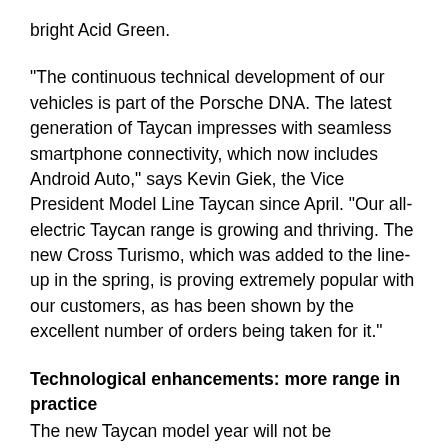bright Acid Green.
“The continuous technical development of our vehicles is part of the Porsche DNA. The latest generation of Taycan impresses with seamless smartphone connectivity, which now includes Android Auto,” says Kevin Giek, the Vice President Model Line Taycan since April. “Our all-electric Taycan range is growing and thriving. The new Cross Turismo, which was added to the line-up in the spring, is proving extremely popular with our customers, as has been shown by the excellent number of orders being taken for it.”
Technological enhancements: more range in practice
The new Taycan model year will not be homologated separately, so there will not be any new WLTP range values. However, the real-world range of the latest versions will be greater in day-to-day use. Extensive technological developments have been implemented to achieve this increase. In Normal and Range modes, the front electric motor is almost